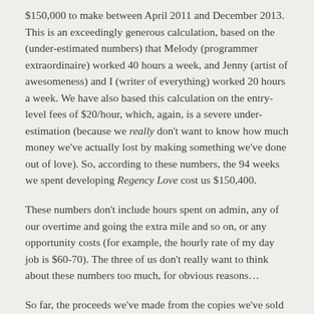$150,000 to make between April 2011 and December 2013. This is an exceedingly generous calculation, based on the (under-estimated numbers) that Melody (programmer extraordinaire) worked 40 hours a week, and Jenny (artist of awesomeness) and I (writer of everything) worked 20 hours a week. We have also based this calculation on the entry-level fees of $20/hour, which, again, is a severe under-estimation (because we really don't want to know how much money we've actually lost by making something we've done out of love). So, according to these numbers, the 94 weeks we spent developing Regency Love cost us $150,400.
These numbers don't include hours spent on admin, any of our overtime and going the extra mile and so on, or any opportunity costs (for example, the hourly rate of my day job is $60-70). The three of us don't really want to think about these numbers too much, for obvious reasons…
So far, the proceeds we've made from the copies we've sold amount to roughly $5,000.
I know a lot of you want new content, and you want new content ASAP, but the kind of game we've made requires a lot of time to create said new content. As a bit of a comparison, try to think of Regency Love as a bit of an interactive novel—you've paid about US$5 for a